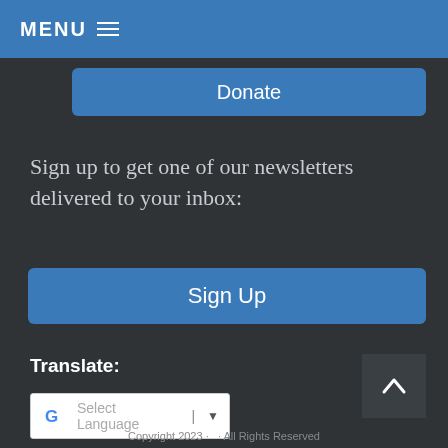MENU ☰
Donate
Sign up to get one of our newsletters delivered to your inbox:
Sign Up
Translate:
[Figure (other): Google Translate widget with 'Select Language' dropdown]
[Figure (other): Back to top button with upward chevron arrow]
Copyright 2023 ...